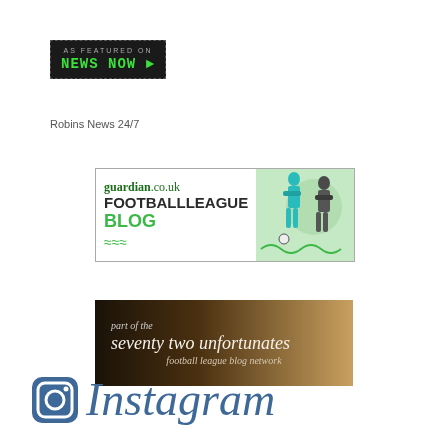[Figure (logo): News Now 'As Featured On' badge with green pixel-style text on dark background]
Robins News 24/7
[Figure (logo): guardian.co.uk Football League Blog banner with soccer player illustrations]
[Figure (logo): Part of the seventy two unfortunates football league blog network banner with dark gradient background]
[Figure (logo): Instagram logo with camera icon and Instagram text in blue]